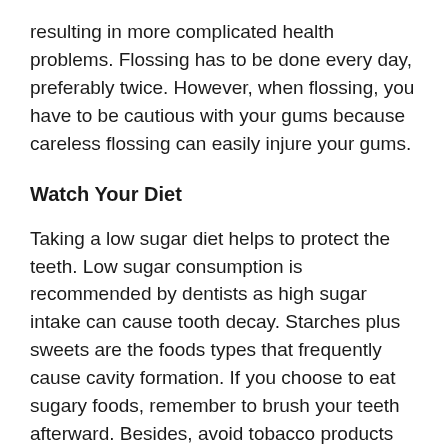resulting in more complicated health problems. Flossing has to be done every day, preferably twice. However, when flossing, you have to be cautious with your gums because careless flossing can easily injure your gums.
Watch Your Diet
Taking a low sugar diet helps to protect the teeth. Low sugar consumption is recommended by dentists as high sugar intake can cause tooth decay. Starches plus sweets are the foods types that frequently cause cavity formation. If you choose to eat sugary foods, remember to brush your teeth afterward. Besides, avoid tobacco products and tooth discoloring foods like berries, black tea and red wine, as they can negatively affect your teeth's appearance.
Visit the Dentist Regularly